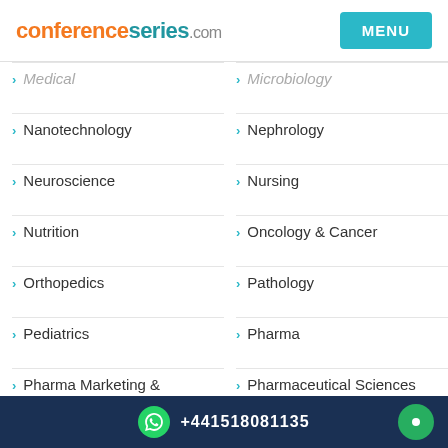conferenceseries.com
Medical
Nanotechnology
Neuroscience
Nutrition
Orthopedics
Pediatrics
Pharma Marketing & Industry
Psychiatry
Surgery
Microbiology
Nephrology
Nursing
Oncology & Cancer
Pathology
Pharma
Pharmaceutical Sciences
Physics
Pulmonology
Toxicology
+441518081135